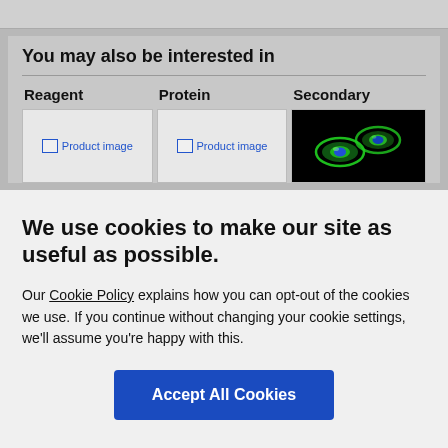You may also be interested in
Reagent
Protein
Secondary
[Figure (screenshot): Product image placeholder for Reagent column]
[Figure (screenshot): Product image placeholder for Protein column]
[Figure (photo): Fluorescence microscopy image showing green-stained cells with blue nuclei on black background]
Your country/region is currently set to:
United States
We use cookies to make our site as useful as possible.
Our Cookie Policy explains how you can opt-out of the cookies we use. If you continue without changing your cookie settings, we'll assume you're happy with this.
Accept All Cookies